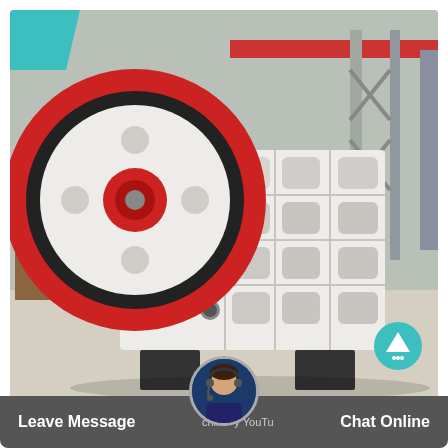[Figure (photo): Large industrial jaw crusher machine in white and red, with large flywheel, set in a manufacturing factory with overhead cranes visible in the background. A teal accent rectangle appears in the top-left corner, and a teal up-arrow button appears at the bottom-right of the photo.]
best crusher manufacturers tripura - Mechanic
Leave Message chine y YouTu Chat Online n